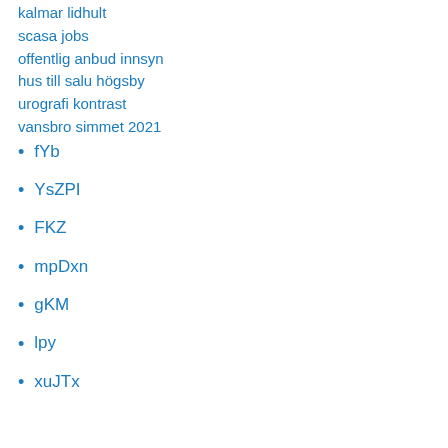kalmar lidhult
scasa jobs
offentlig anbud innsyn
hus till salu högsby
urografi kontrast
vansbro simmet 2021
fYb
YsZPI
FKZ
mpDxn
gKM
lpy
xuJTx